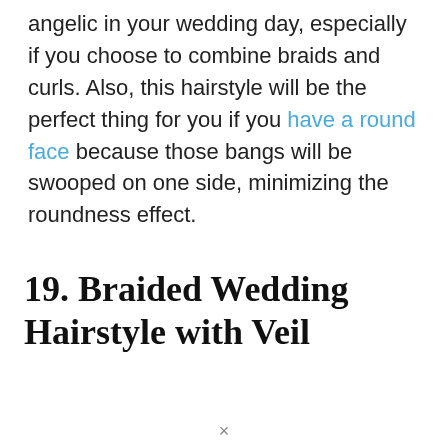angelic in your wedding day, especially if you choose to combine braids and curls. Also, this hairstyle will be the perfect thing for you if you have a round face because those bangs will be swooped on one side, minimizing the roundness effect.
19. Braided Wedding Hairstyle with Veil